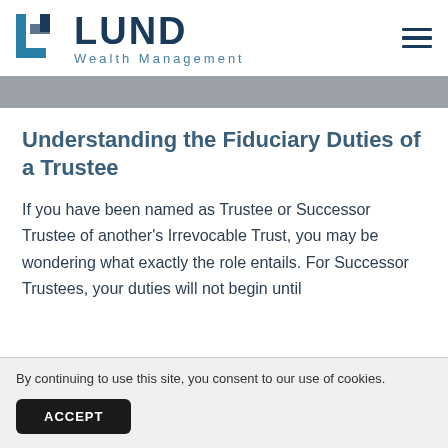LUND Wealth Management
Understanding the Fiduciary Duties of a Trustee
If you have been named as Trustee or Successor Trustee of another's Irrevocable Trust, you may be wondering what exactly the role entails. For Successor Trustees, your duties will not begin until
By continuing to use this site, you consent to our use of cookies.